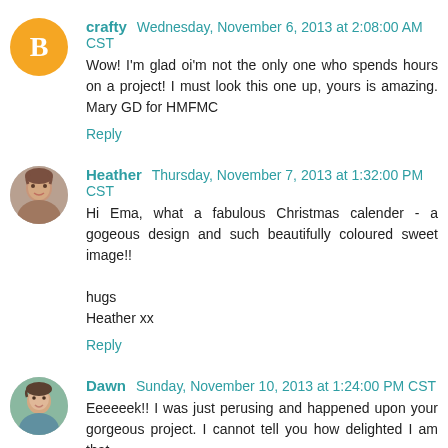crafty Wednesday, November 6, 2013 at 2:08:00 AM CST
Wow! I'm glad oi'm not the only one who spends hours on a project! I must look this one up, yours is amazing. Mary GD for HMFMC
Reply
Heather Thursday, November 7, 2013 at 1:32:00 PM CST
Hi Ema, what a fabulous Christmas calender - a gogeous design and such beautifully coloured sweet image!!

hugs
Heather xx
Reply
Dawn Sunday, November 10, 2013 at 1:24:00 PM CST
Eeeeeek!! I was just perusing and happened upon your gorgeous project. I cannot tell you how delighted I am that